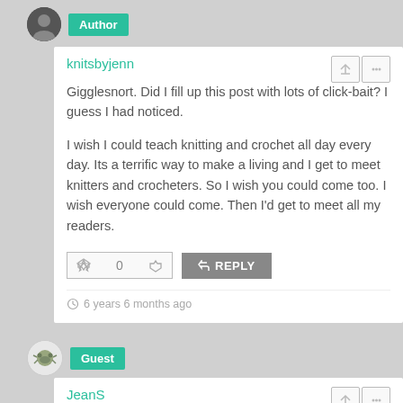[Figure (other): User avatar (dark circle) with Author badge (green)]
knitsbyjenn
Gigglesnort. Did I fill up this post with lots of click-bait? I guess I had noticed.

I wish I could teach knitting and crochet all day every day. Its a terrific way to make a living and I get to meet knitters and crocheters. So I wish you could come too. I wish everyone could come. Then I'd get to meet all my readers.
6 years 6 months ago
[Figure (other): Guest user avatar (illustrated bug/crab icon) with Guest badge (green)]
JeanS